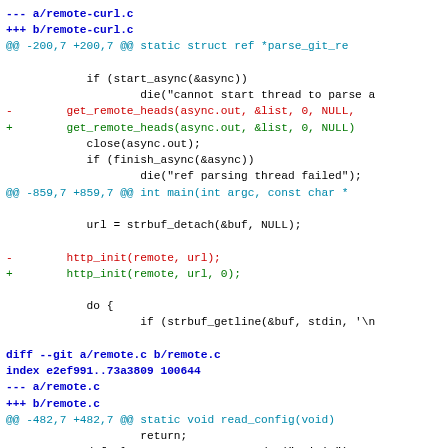--- a/remote-curl.c
+++ b/remote-curl.c
@@ -200,7 +200,7 @@ static struct ref *parse_git_re

            if (start_async(&async))
                    die("cannot start thread to parse a
-        get_remote_heads(async.out, &list, 0, NULL,
+        get_remote_heads(async.out, &list, 0, NULL)
            close(async.out);
            if (finish_async(&async))
                    die("ref parsing thread failed");
@@ -859,7 +859,7 @@ int main(int argc, const char *

            url = strbuf_detach(&buf, NULL);

-        http_init(remote, url);
+        http_init(remote, url, 0);

            do {
                    if (strbuf_getline(&buf, stdin, '\n

diff --git a/remote.c b/remote.c
index e2ef991..73a3809 100644
--- a/remote.c
+++ b/remote.c
@@ -482,7 +482,7 @@ static void read_config(void)
                    return;
            default_remote_name = xstrdup("origin");
            current_branch = NULL;
-        head_ref = resolve_ref("HEAD", sha1, 0, &fl